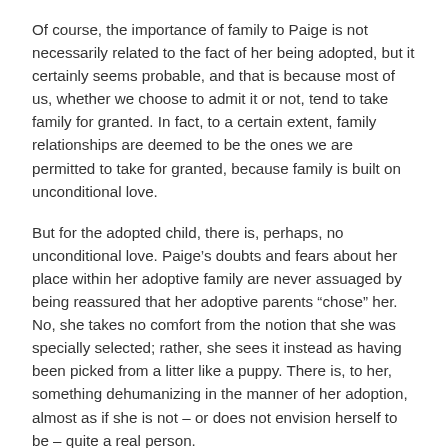Of course, the importance of family to Paige is not necessarily related to the fact of her being adopted, but it certainly seems probable, and that is because most of us, whether we choose to admit it or not, tend to take family for granted. In fact, to a certain extent, family relationships are deemed to be the ones we are permitted to take for granted, because family is built on unconditional love.
But for the adopted child, there is, perhaps, no unconditional love. Paige’s doubts and fears about her place within her adoptive family are never assuaged by being reassured that her adoptive parents “chose” her. No, she takes no comfort from the notion that she was specially selected; rather, she sees it instead as having been picked from a litter like a puppy. There is, to her, something dehumanizing in the manner of her adoption, almost as if she is not – or does not envision herself to be – quite a real person.